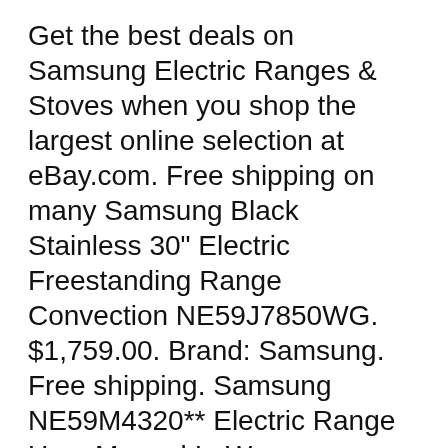Get the best deals on Samsung Electric Ranges & Stoves when you shop the largest online selection at eBay.com. Free shipping on many Samsung Black Stainless 30" Electric Freestanding Range Convection NE59J7850WG. $1,759.00. Brand: Samsung. Free shipping. Samsung NE59M4320** Electric Range User Manual In Wrapper. $8.99. Brand: Samsung Electric oven - 5.9 cu. ft Discuss: Samsung NE59N6630SS - range - freestanding - stainless steel Sign in to comment. Be respectful, keep it civil and stay on topic.
Both freestanding and slide-in electric ranges are available in a variety of sizes